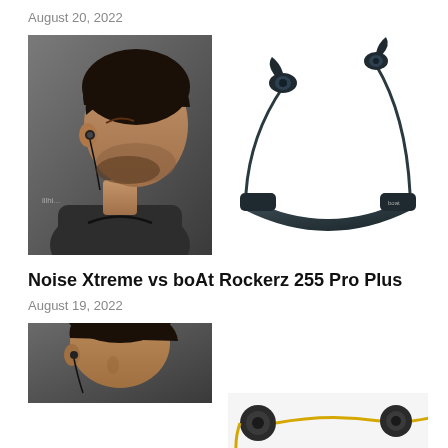August 20, 2022
[Figure (photo): Man wearing neckband earphones looking upward (left), and boAt Rockerz neckband earphones product shot on white background (right)]
Noise Xtreme vs boAt Rockerz 255 Pro Plus
August 19, 2022
[Figure (photo): Partial view of man wearing earphones (left), and yellow-cord earphones product shot (right) — partially cropped at bottom of page]